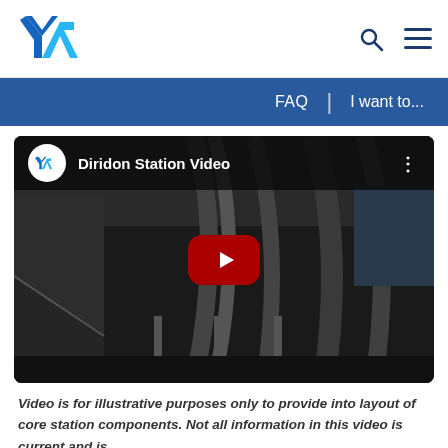[Figure (logo): VTA (Valley Transportation Authority) logo in blue]
FAQ  |  I want to...
[Figure (screenshot): YouTube-style video thumbnail for 'Diridon Station Video' showing a dark interior view of a transit station with escalators and structural columns. A red YouTube play button is centered on the thumbnail.]
Video is for illustrative purposes only to provide into layout of core station components. Not all information in this video is current and is